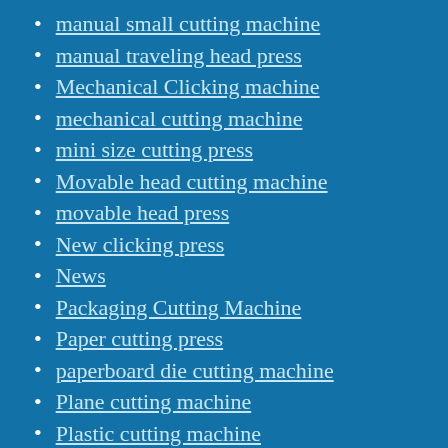manual small cutting machine
manual traveling head press
Mechanical Clicking machine
mechanical cutting machine
mini size cutting press
Movable head cutting machine
movable head press
New clicking press
News
Packaging Cutting Machine
Paper cutting press
paperboard die cutting machine
Plane cutting machine
Plastic cutting machine
plastic film die cutting machine
PU cutting machine
puff die cutting machine